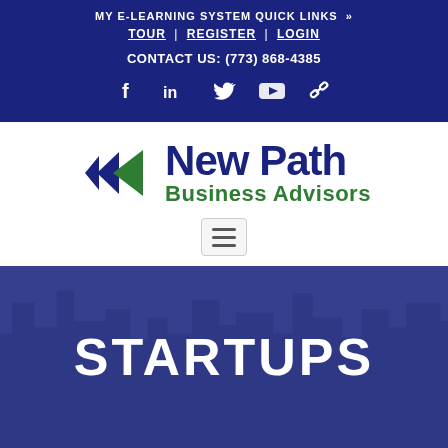MY E-LEARNING SYSTEM QUICK LINKS »
TOUR | REGISTER | LOGIN
CONTACT US: (773) 868-4385
[Figure (logo): Social media icons: Facebook, LinkedIn, Twitter, YouTube, link]
[Figure (logo): New Path Business Advisors logo with arrow icons in dark blue and green]
[Figure (other): Hamburger menu button]
STARTUPS